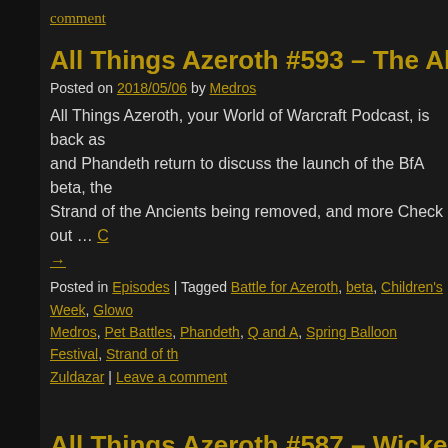comment
All Things Azeroth #593 – The Abandone…
Posted on 2018/05/06 by Medros
All Things Azeroth, your World of Warcraft Podcast, is back as and Phandeth return to discuss the launch of the BfA beta, the Strand of the Ancients being removed, and more Check out … →
Posted in Episodes | Tagged Battle for Azeroth, beta, Children's Week, Glowo Medros, Pet Battles, Phandeth, Q and A, Spring Balloon Festival, Strand of th Zuldazar | Leave a comment
All Things Azeroth #587 – Wicker Wonder…
Posted on 2018/03/23 by Medros
All Things Azeroth, your World of Warcraft Podcast, is back as and Phandeth return to discuss the recent dev Q and A. Panthe…